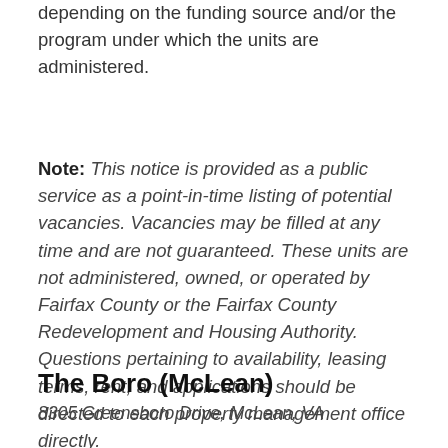depending on the funding source and/or the program under which the units are administered.
Note: This notice is provided as a public service as a point-in-time listing of potential vacancies. Vacancies may be filled at any time and are not guaranteed. These units are not administered, owned, or operated by Fairfax County or the Fairfax County Redevelopment and Housing Authority. Questions pertaining to availability, leasing terms, rent, and applications should be directed to each property management office directly.
The Boro (McLean)
8305 Greensboro Drive, McLean, VA